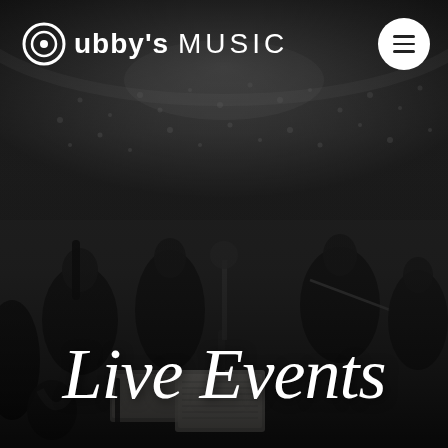[Figure (photo): Black and white photo of an orchestra performing on stage with a large crowd in the background, viewed from behind the musicians. Sheet music stands are visible in the foreground.]
Cubby's MUSIC
Live Events